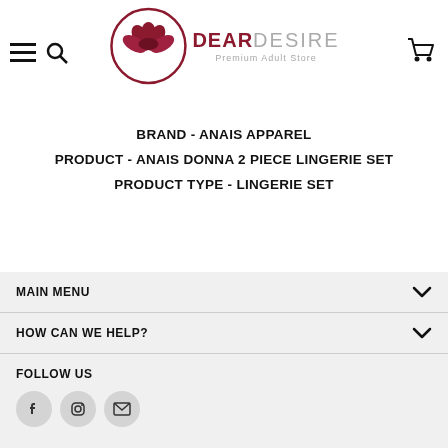[Figure (logo): Dear Desire Premium Adult Store logo with lotus flower in dark red circle]
BRAND - ANAIS APPAREL
PRODUCT - ANAIS DONNA 2 PIECE LINGERIE SET
PRODUCT TYPE - LINGERIE SET
MAIN MENU
HOW CAN WE HELP?
FOLLOW US
[Figure (illustration): Social media icons: Facebook, Instagram, Email in circular grey buttons]